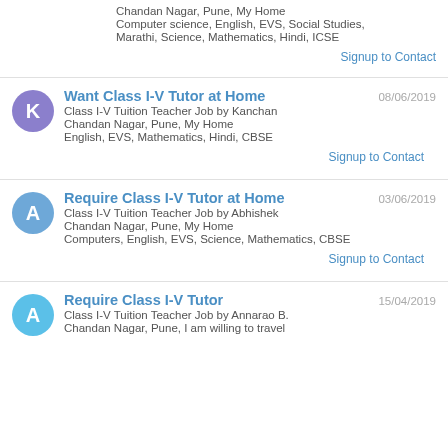Chandan Nagar, Pune, My Home
Computer science, English, EVS, Social Studies, Marathi, Science, Mathematics, Hindi, ICSE
Signup to Contact
Want Class I-V Tutor at Home
08/06/2019
Class I-V Tuition Teacher Job by Kanchan
Chandan Nagar, Pune, My Home
English, EVS, Mathematics, Hindi, CBSE
Signup to Contact
Require Class I-V Tutor at Home
03/06/2019
Class I-V Tuition Teacher Job by Abhishek
Chandan Nagar, Pune, My Home
Computers, English, EVS, Science, Mathematics, CBSE
Signup to Contact
Require Class I-V Tutor
15/04/2019
Class I-V Tuition Teacher Job by Annarao B.
Chandan Nagar, Pune, I am willing to travel